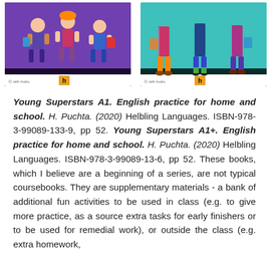[Figure (illustration): Two book covers side by side. Left cover (Young Superstars A1) has a purple/violet background with illustrated cartoon children figures. Right cover (Young Superstars A1+) has a teal/turquoise background with illustrated cartoon children figures. Both covers have a white bottom bar with a Helbling Languages logo.]
Young Superstars A1. English practice for home and school. H. Puchta. (2020) Helbling Languages. ISBN-978-3-99089-133-9, pp 52. Young Superstars A1+. English practice for home and school. H. Puchta. (2020) Helbling Languages. ISBN-978-3-99089-13-6, pp 52. These books, which I believe are a beginning of a series, are not typical coursebooks. They are supplementary materials - a bank of additional fun activities to be used in class (e.g. to give more practice, as a source extra tasks for early finishers or to be used for remedial work), or outside the class (e.g. extra homework,